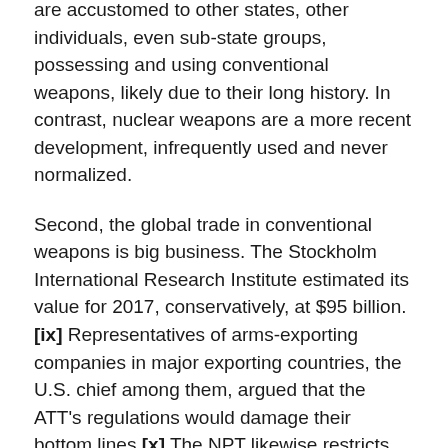are accustomed to other states, other individuals, even sub-state groups, possessing and using conventional weapons, likely due to their long history. In contrast, nuclear weapons are a more recent development, infrequently used and never normalized.
Second, the global trade in conventional weapons is big business. The Stockholm International Research Institute estimated its value for 2017, conservatively, at $95 billion. [ix] Representatives of arms-exporting companies in major exporting countries, the U.S. chief among them, argued that the ATT's regulations would damage their bottom lines.[x] The NPT likewise restricts the export of nuclear technology, a much smaller industry, estimated at only $5 billion annually.[xi]  There is proportionately less business opposition to the NPT than there is to the ATT. Through lobbying and marketing campaigns, businesses can impact government decisions, such as whether to join a